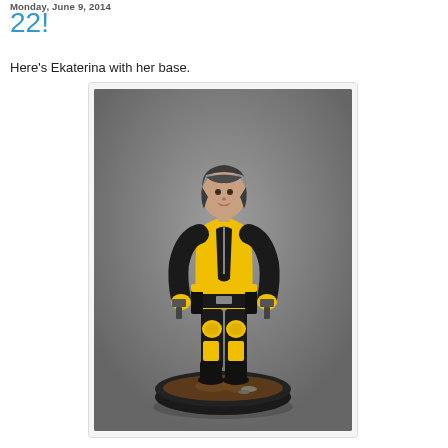Monday, June 9, 2014
22!
Here's Ekaterina with her base.
[Figure (photo): A painted miniature figurine of a female character named Ekaterina, wearing a yellow and black form-fitting suit with holsters, holding pistols, standing on a round black base with brown terrain texture.]